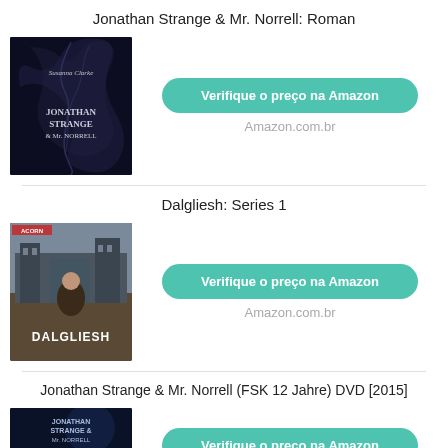Jonathan Strange & Mr. Norrell: Roman
[Figure (photo): Book cover of Jonathan Strange & Mr. Norrell: Roman by Susanna Clarke, dark background with tentacle-like design]
Verifique o preço na Amazon
Amazon.com.br
Dalgliesh: Series 1
[Figure (photo): DVD cover of Dalgliesh Series 1, showing a man in a coat against a British building backdrop]
Verifique o preço na Amazon
Amazon.com.br
Jonathan Strange & Mr. Norrell (FSK 12 Jahre) DVD [2015]
[Figure (photo): DVD cover of Jonathan Strange & Mr. Norrell, dark blue cover with two figures]
Verifique o preço na Amazon
Amazon.com.br